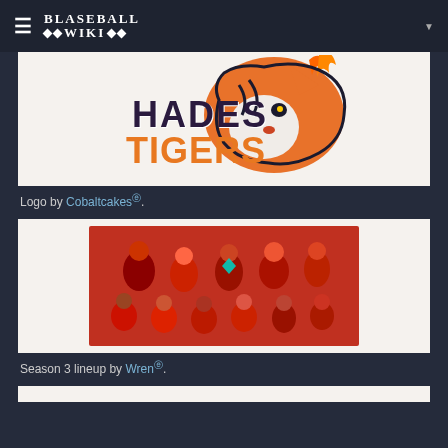BLASEBALL WIKI
[Figure (illustration): Hades Tigers team logo with a roaring tiger head and the text HADES TIGERS]
Logo by Cobaltcakes ⓔ.
[Figure (illustration): Season 3 lineup group illustration of Hades Tigers players in red uniforms]
Season 3 lineup by Wren ⓔ.